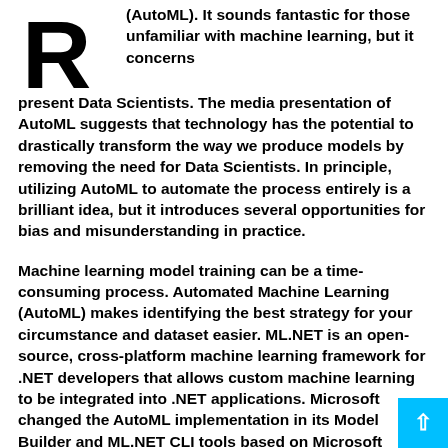[Figure (illustration): Large decorative drop cap letter R in bold black]
(AutoML). It sounds fantastic for those unfamiliar with machine learning, but it concerns present Data Scientists. The media presentation of AutoML suggests that technology has the potential to drastically transform the way we produce models by removing the need for Data Scientists. In principle, utilizing AutoML to automate the process entirely is a brilliant idea, but it introduces several opportunities for bias and misunderstanding in practice.
Machine learning model training can be a time-consuming process. Automated Machine Learning (AutoML) makes identifying the best strategy for your circumstance and dataset easier. ML.NET is an open-source, cross-platform machine learning framework for .NET developers that allows custom machine learning to be integrated into .NET applications. Microsoft changed the AutoML implementation in its Model Builder and ML.NET CLI tools based on Microsoft Research's Neural Architecture intelligence (NNI) and Foreseen...